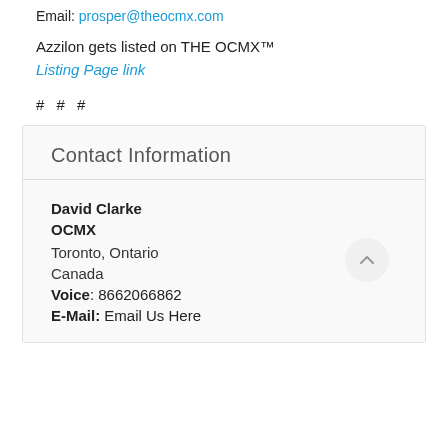Email: prosper@theocmx.com
Azzilon gets listed on THE OCMX™
Listing Page link
# # #
Contact Information
David Clarke
OCMX
Toronto, Ontario
Canada
Voice: 8662066862
E-Mail: Email Us Here